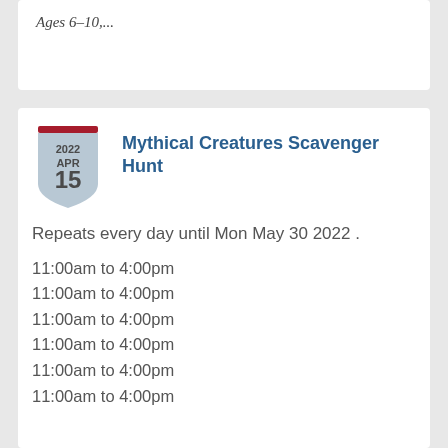Ages 6–10,...
Mythical Creatures Scavenger Hunt
Repeats every day until Mon May 30 2022 .
11:00am to 4:00pm
11:00am to 4:00pm
11:00am to 4:00pm
11:00am to 4:00pm
11:00am to 4:00pm
11:00am to 4:00pm